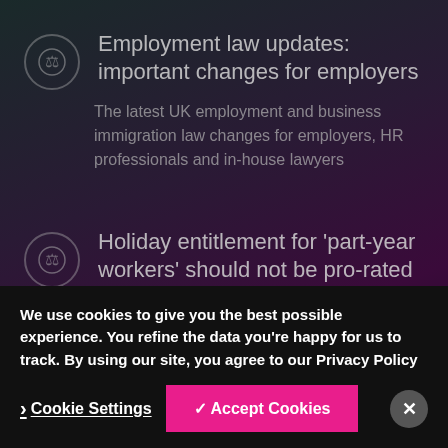Employment law updates: important changes for employers
The latest UK employment and business immigration law changes for employers, HR professionals and in-house lawyers
Holiday entitlement for 'part-year workers' should not be pro-rated
We use cookies to give you the best possible experience. You refine the data you're happy for us to track. By using our site, you agree to our Privacy Policy
Cookie Settings
✓ Accept Cookies